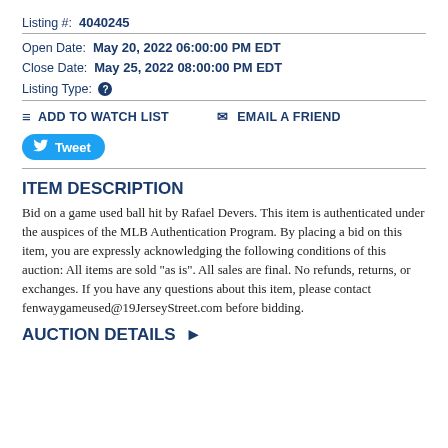Listing #:  4040245
Open Date:  May 20, 2022 06:00:00 PM EDT
Close Date:  May 25, 2022 08:00:00 PM EDT
Listing Type: ?
ADD TO WATCH LIST   EMAIL A FRIEND
Tweet
ITEM DESCRIPTION
Bid on a game used ball hit by Rafael Devers. This item is authenticated under the auspices of the MLB Authentication Program. By placing a bid on this item, you are expressly acknowledging the following conditions of this auction: All items are sold "as is". All sales are final. No refunds, returns, or exchanges. If you have any questions about this item, please contact fenwaygameused@19JerseyStreet.com before bidding.
AUCTION DETAILS ▶